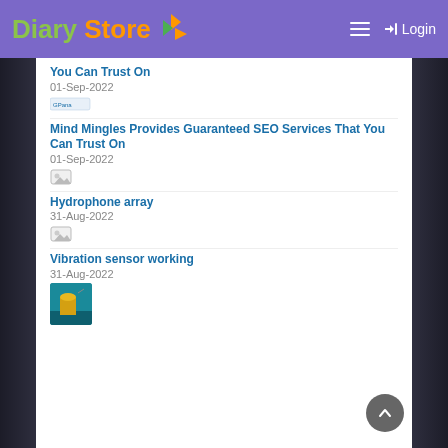Diary Store — Login
You Can Trust On
01-Sep-2022
Mind Mingles Provides Guaranteed SEO Services That You Can Trust On
01-Sep-2022
Hydrophone array
31-Aug-2022
Vibration sensor working
31-Aug-2022